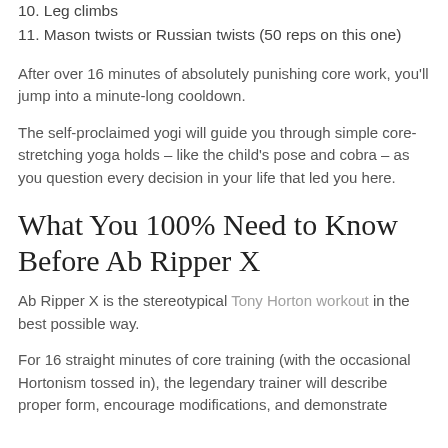10. Leg climbs
11. Mason twists or Russian twists (50 reps on this one)
After over 16 minutes of absolutely punishing core work, you'll jump into a minute-long cooldown.
The self-proclaimed yogi will guide you through simple core-stretching yoga holds – like the child's pose and cobra – as you question every decision in your life that led you here.
What You 100% Need to Know Before Ab Ripper X
Ab Ripper X is the stereotypical Tony Horton workout in the best possible way.
For 16 straight minutes of core training (with the occasional Hortonism tossed in), the legendary trainer will describe proper form, encourage modifications, and demonstrate